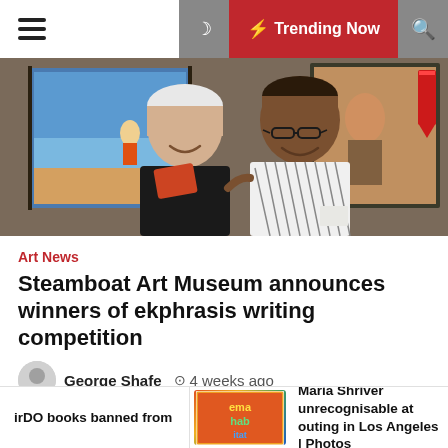☰  🌙  ⚡ Trending Now  🔍
[Figure (photo): Two women posing together in an art gallery. An elderly white-haired woman in black on the left, and a woman with glasses in a patterned black-and-white outfit on the right. Colorful paintings and a red ribbon visible in the background.]
Art News
Steamboat Art Museum announces winners of ekphrasis writing competition
George Shafe   4 weeks ago
Winning Poetry writer Marian Tolles with Betse Grassby, Steamboat Artwork Museum government director.Trey Mullen/Courtesy photograph The Steamboat Art Museum
irDO books banned from   [image]   Maria Shriver unrecognisable at outing in Los Angeles | Photos